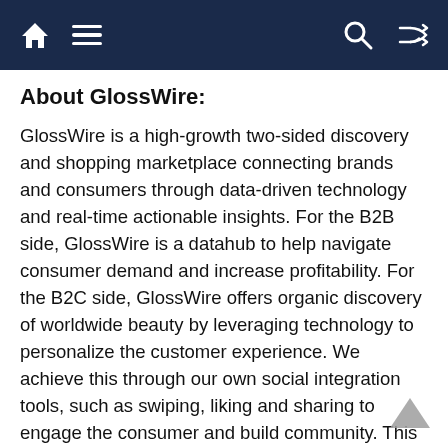Navigation bar with home, menu, search, and shuffle icons
About GlossWire:
GlossWire is a high-growth two-sided discovery and shopping marketplace connecting brands and consumers through data-driven technology and real-time actionable insights. For the B2B side, GlossWire is a datahub to help navigate consumer demand and increase profitability. For the B2C side, GlossWire offers organic discovery of worldwide beauty by leveraging technology to personalize the customer experience. We achieve this through our own social integration tools, such as swiping, liking and sharing to engage the consumer and build community. This interactive experience encourages the consumer to be the influencer – and their feedback becomes part of essential brand decision making. The website and catalog discover…